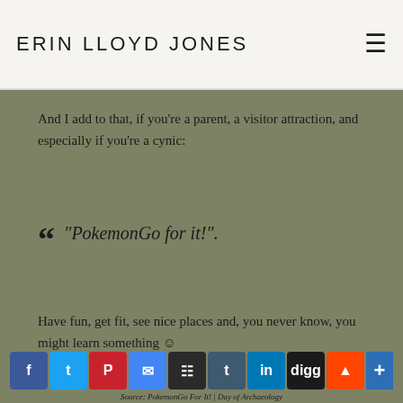ERIN LLOYD JONES
And I add to that, if you're a parent, a visitor attraction, and especially if you're a cynic:
“PokemonGo for it!”.
Have fun, get fit, see nice places and, you never know, you might learn something 😊
[Figure (other): Social media sharing icons: Facebook, Twitter, Pinterest, Email, Myspace, Tumblr, LinkedIn, Digg, Reddit, plus button]
Source: PokemonGo For It! | Day of Archaeology